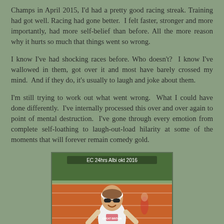Champs in April 2015, I'd had a pretty good racing streak. Training had got well. Racing had gone better.  I felt faster, stronger and more importantly, had more self-belief than before. All the more reason why it hurts so much that things went so wrong.
I know I've had shocking races before. Who doesn't?  I know I've wallowed in them, got over it and most have barely crossed my mind.  And if they do, it's usually to laugh and joke about them.
I'm still trying to work out what went wrong.  What I could have done differently.  I've internally processed this over and over again to point of mental destruction.  I've gone through every emotion from complete self-loathing to laugh-out-load hilarity at some of the moments that will forever remain comedy gold.
[Figure (photo): A female runner wearing a white visor and sunglasses, dressed in a Great Britain athletic uniform, smiling on a running track. Caption reads 'EC 24hrs Albi okt 2016'.]